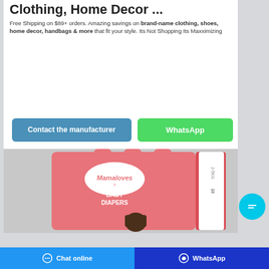Clothing, Home Decor ...
Free Shipping on $89+ orders. Amazing savings on brand-name clothing, shoes, home decor, handbags & more that fit your style. Its Not Shopping Its Maxximizing
[Figure (photo): Pink Mamaloves Baby Diapers product box with baby on it]
Chat online | WhatsApp